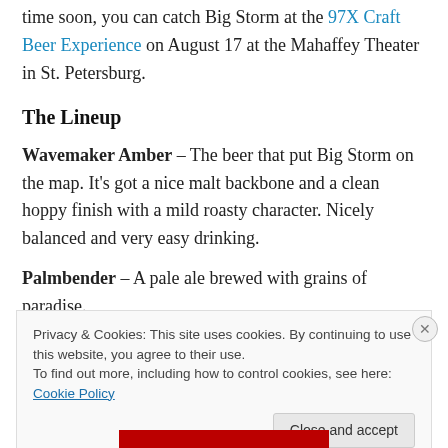time soon, you can catch Big Storm at the 97X Craft Beer Experience on August 17 at the Mahaffey Theater in St. Petersburg.
The Lineup
Wavemaker Amber – The beer that put Big Storm on the map. It's got a nice malt backbone and a clean hoppy finish with a mild roasty character. Nicely balanced and very easy drinking.
Palmbender – A pale ale brewed with grains of paradise.
Privacy & Cookies: This site uses cookies. By continuing to use this website, you agree to their use. To find out more, including how to control cookies, see here: Cookie Policy